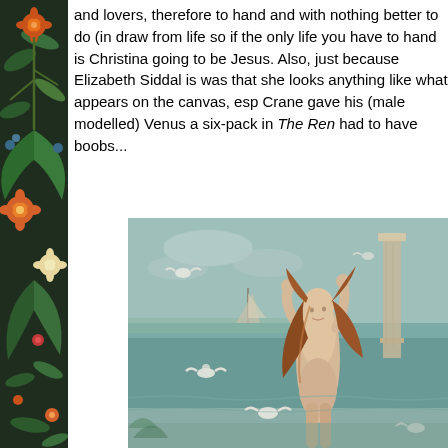[Figure (illustration): Decorative floral Arts and Crafts style sidebar panel with dark green background, featuring flowers, leaves and botanical motifs in orange, green, blue and cream colors]
and lovers, therefore to hand and with nothing better to do (in draw from life so if the only life you have to hand is Christina going to be Jesus. Also, just because Elizabeth Siddal is was that she looks anything like what appears on the canvas, esp Crane gave his (male modelled) Venus a six-pack in The Ren had to have boobs...
[Figure (photo): Painting of Venus, a nude woman with long flowing red-auburn hair standing with arms raised, surrounded by white doves and cherubs, with a seascape background featuring a sailing ship and classical column architecture. Style consistent with Walter Crane's 'The Renaissance of Venus'.]